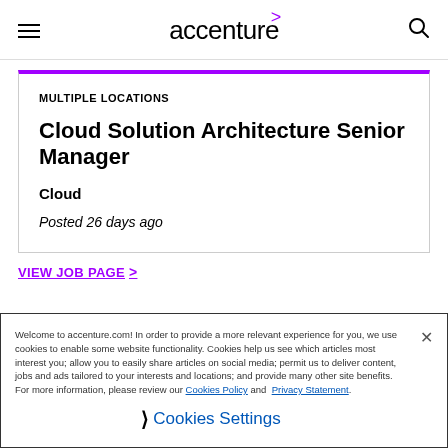accenture
MULTIPLE LOCATIONS
Cloud Solution Architecture Senior Manager
Cloud
Posted 26 days ago
Welcome to accenture.com! In order to provide a more relevant experience for you, we use cookies to enable some website functionality. Cookies help us see which articles most interest you; allow you to easily share articles on social media; permit us to deliver content, jobs and ads tailored to your interests and locations; and provide many other site benefits. For more information, please review our Cookies Policy and Privacy Statement.
Cookies Settings